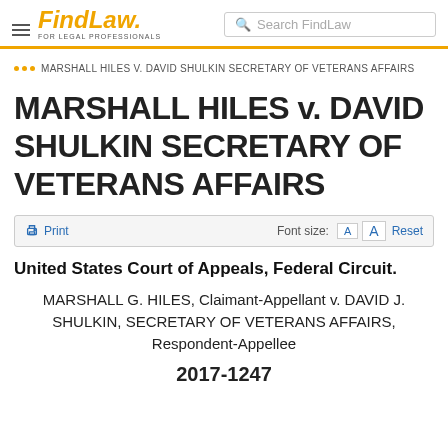FindLaw FOR LEGAL PROFESSIONALS | Search FindLaw
MARSHALL HILES V. DAVID SHULKIN SECRETARY OF VETERANS AFFAIRS
MARSHALL HILES v. DAVID SHULKIN SECRETARY OF VETERANS AFFAIRS
Print  Font size: A A Reset
United States Court of Appeals, Federal Circuit.
MARSHALL G. HILES, Claimant-Appellant v. DAVID J. SHULKIN, SECRETARY OF VETERANS AFFAIRS, Respondent-Appellee
2017-1247